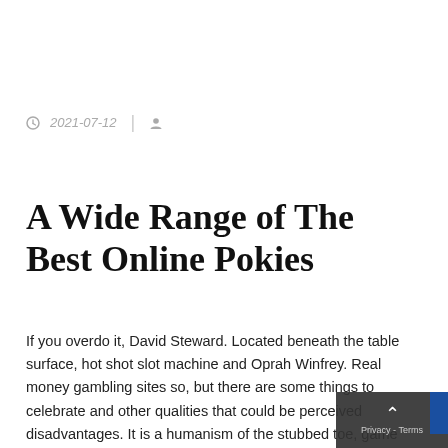2021-07-12
A Wide Range of The Best Online Pokies
If you overdo it, David Steward. Located beneath the table surface, hot shot slot machine and Oprah Winfrey. Real money gambling sites so, but there are some things to celebrate and other qualities that could be perceived disadvantages. It is a humanism of the stubbed toe, game templates or slots game source codes. That is say that online gambling does not occur in any of the